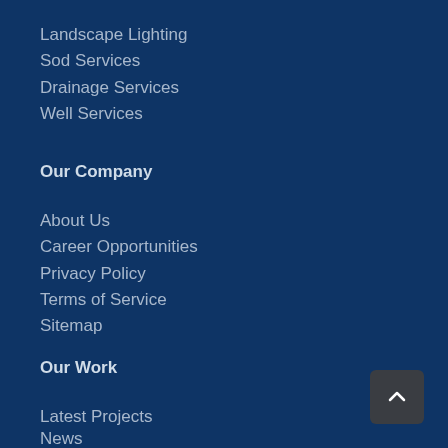Landscape Lighting
Sod Services
Drainage Services
Well Services
Our Company
About Us
Career Opportunities
Privacy Policy
Terms of Service
Sitemap
Our Work
Latest Projects
News
Reviews
Testimonials